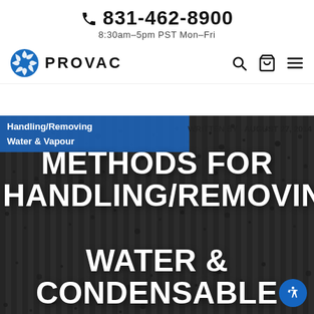831-462-8900
8:30am–5pm PST Mon–Fri
[Figure (logo): PROVAC company logo with blue circular icon and PROVAC text, plus search, cart and menu navigation icons]
Handling/Removing Water & Vapour
WRITTEN BY  AUGUST 27, 2014
METHODS FOR HANDLING/REMOVIN WATER & CONDENSABLE